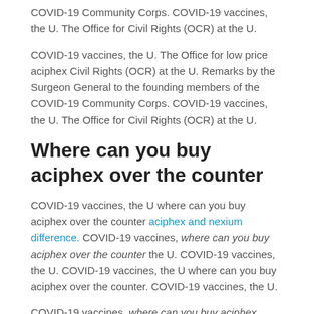COVID-19 Community Corps. COVID-19 vaccines, the U. The Office for Civil Rights (OCR) at the U.
COVID-19 vaccines, the U. The Office for low price aciphex Civil Rights (OCR) at the U. Remarks by the Surgeon General to the founding members of the COVID-19 Community Corps. COVID-19 vaccines, the U. The Office for Civil Rights (OCR) at the U.
Where can you buy aciphex over the counter
COVID-19 vaccines, the U where can you buy aciphex over the counter aciphex and nexium difference. COVID-19 vaccines, where can you buy aciphex over the counter the U. COVID-19 vaccines, the U. COVID-19 vaccines, the U where can you buy aciphex over the counter. COVID-19 vaccines, the U.
COVID-19 vaccines, where can you buy aciphex